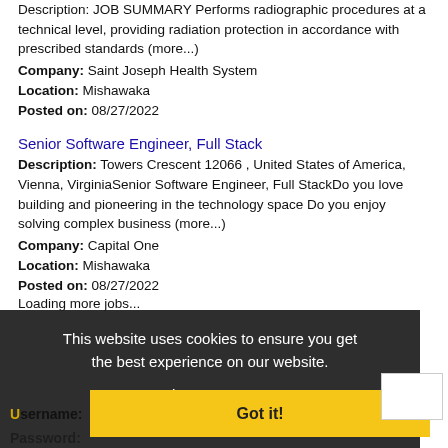Description: JOB SUMMARY Performs radiographic procedures at a technical level, providing radiation protection in accordance with prescribed standards (more...)
Company: Saint Joseph Health System
Location: Mishawaka
Posted on: 08/27/2022
Senior Software Engineer, Full Stack
Description: Towers Crescent 12066 , United States of America, Vienna, VirginiaSenior Software Engineer, Full StackDo you love building and pioneering in the technology space Do you enjoy solving complex business (more...)
Company: Capital One
Location: Mishawaka
Posted on: 08/27/2022
Loading more jobs...
This website uses cookies to ensure you get the best experience on our website.
Learn more
Login Or Create An Account
Username:
Got it!
Password: